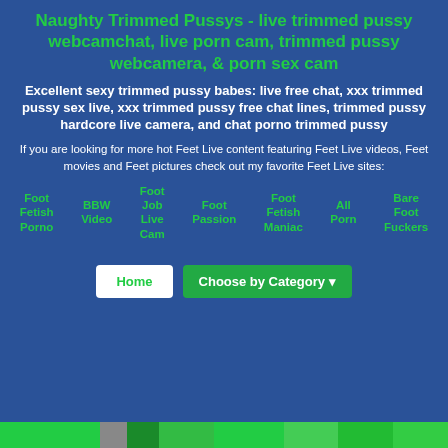Naughty Trimmed Pussys - live trimmed pussy webcamchat, live porn cam, trimmed pussy webcamera, & porn sex cam
Excellent sexy trimmed pussy babes: live free chat, xxx trimmed pussy sex live, xxx trimmed pussy free chat lines, trimmed pussy hardcore live camera, and chat porno trimmed pussy
If you are looking for more hot Feet Live content featuring Feet Live videos, Feet movies and Feet pictures check out my favorite Feet Live sites:
Foot Fetish Porno
BBW Video
Foot Job Live Cam
Foot Passion
Foot Fetish Maniac
All Porn
Bare Foot Fuckers